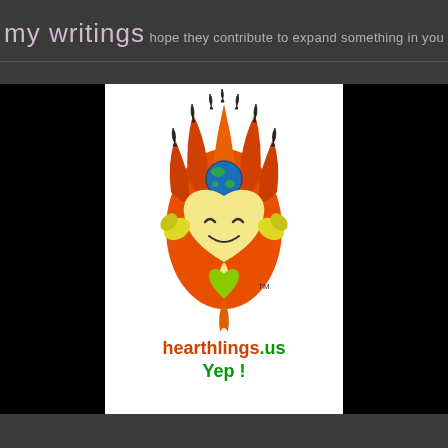my writings
hope they contribute to expand something in you
[Figure (logo): Hearthlings.us logo: a heart-shaped character with a smiley face surrounded by orange flames, a globe on top, yellow heart hands, and a small green heart below. TM mark visible. Below the illustration: 'hearthlings.us' in orange/green and 'Yep !' in green text.]